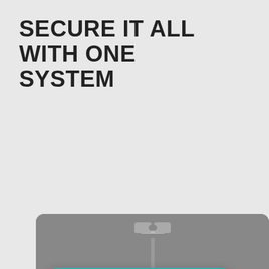SECURE IT ALL WITH ONE SYSTEM
[Figure (photo): A security camera mounted on a pole with a solar panel, shown against a grey background. A chat bubble overlay reads 'Are you looking to increase your business's security?' with a teal header and user avatar. Play and close buttons are visible.]